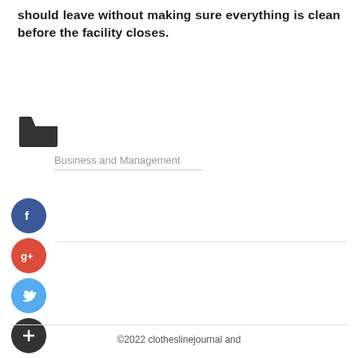should leave without making sure everything is clean before the facility closes.
[Figure (illustration): Folder icon (open folder, dark gray)]
Business and Management
[Figure (illustration): Social share buttons: Facebook (blue circle with f), Google+ (red circle with g+), Twitter (blue circle with bird), More (dark circle with plus sign)]
©2022 clotheslinejournal and